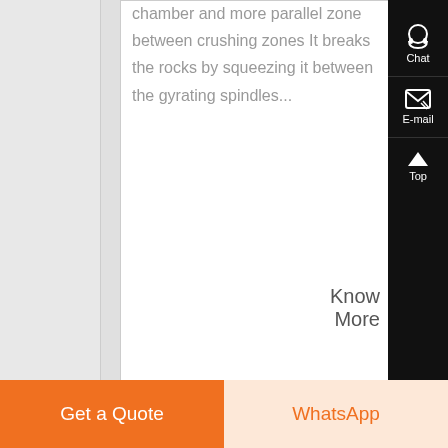chamber and more parallel zone between crushing zones It breaks the rocks by squeezing it between the gyrating spindles...
Know More
Chat
E-mail
Top
Get a Quote
WhatsApp